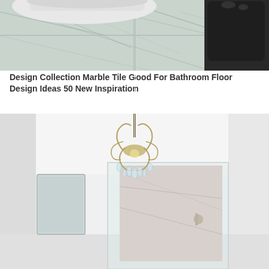[Figure (photo): Close-up photo of marble floor tiles with white toilet base and dark black toilet brush holder visible on right side]
Design Collection Marble Tile Good For Bathroom Floor Design Ideas 50 New Inspiration
[Figure (photo): Bright white bathroom interior with an ornate crystal chandelier hanging from the ceiling, glass shower enclosure with marble wall tiles visible in background]